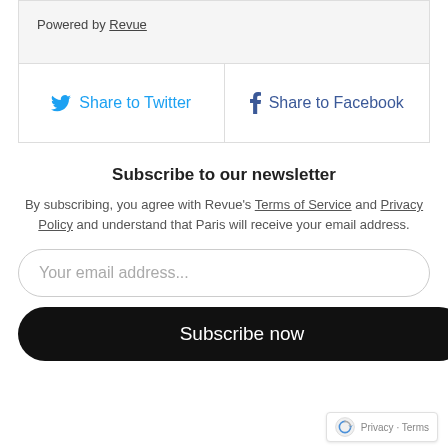Powered by Revue
Share to Twitter
Share to Facebook
Subscribe to our newsletter
By subscribing, you agree with Revue's Terms of Service and Privacy Policy and understand that Paris will receive your email address.
Your email address...
Subscribe now
Privacy · Terms